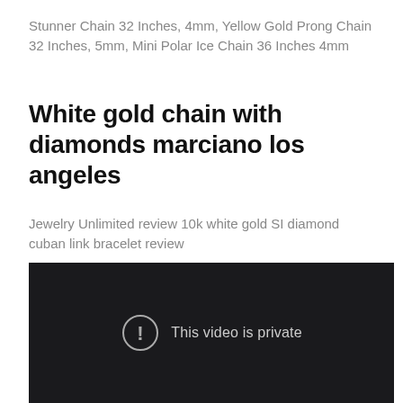Stunner Chain 32 Inches, 4mm, Yellow Gold Prong Chain 32 Inches, 5mm, Mini Polar Ice Chain 36 Inches 4mm
White gold chain with diamonds marciano los angeles
Jewelry Unlimited review 10k white gold SI diamond cuban link bracelet review
[Figure (screenshot): Dark video player showing 'This video is private' message with an exclamation mark icon in a circle]